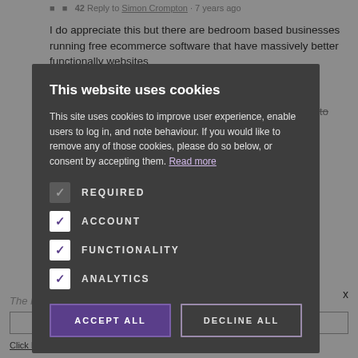Reply to Simon Crompton · 7 years ago
I do appreciate this but there are bedroom based businesses running free ecommerce software that have massively better functionally websites
Looking at Skywire who appears to have created the site its certainly money well spent.
Anyway many thanks for the working link
This website uses cookies
This site uses cookies to improve user experience, enable users to log in, and note behaviour. If you would like to remove any of those cookies, please do so below, or consent by accepting them. Read more
REQUIRED
ACCOUNT
FUNCTIONALITY
ANALYTICS
ACCEPT ALL
DECLINE ALL
The Financial Style Newsletter
CLICK HERE TO REGISTER
Click here to read our Privacy Policy